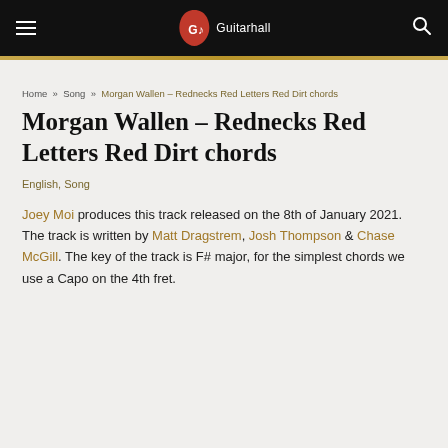GuitarHall navigation bar with logo
Home » Song » Morgan Wallen – Rednecks Red Letters Red Dirt chords
Morgan Wallen – Rednecks Red Letters Red Dirt chords
English, Song
Joey Moi produces this track released on the 8th of January 2021. The track is written by Matt Dragstrem, Josh Thompson & Chase McGill. The key of the track is F# major, for the simplest chords we use a Capo on the 4th fret.